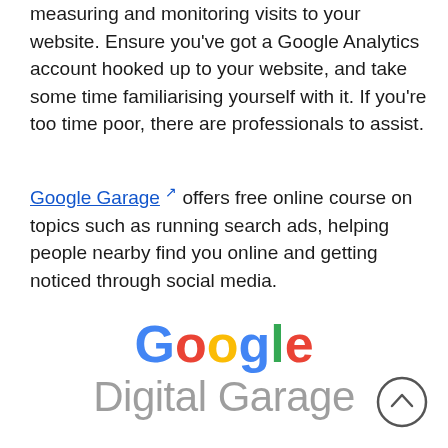measuring and monitoring visits to your website. Ensure you've got a Google Analytics account hooked up to your website, and take some time familiarising yourself with it. If you're too time poor, there are professionals to assist.
Google Garage offers free online course on topics such as running search ads, helping people nearby find you online and getting noticed through social media.
[Figure (logo): Google Digital Garage logo with colorful Google wordmark above grey 'Digital Garage' text]